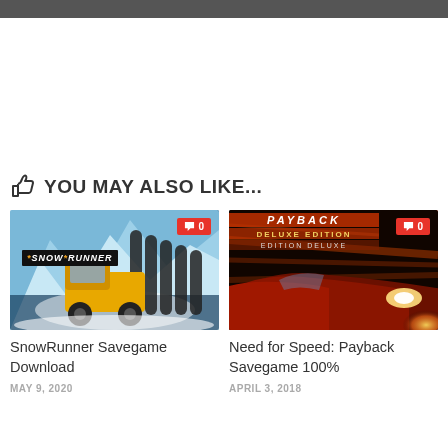YOU MAY ALSO LIKE...
[Figure (photo): SnowRunner game cover with yellow truck in snowy landscape and SnowRunner logo, with red comment badge showing 0]
[Figure (photo): Need for Speed Payback Deluxe Edition cover with red sports car and bright headlights, with red comment badge showing 0]
SnowRunner Savegame Download
MAY 9, 2020
Need for Speed: Payback Savegame 100%
APRIL 3, 2018